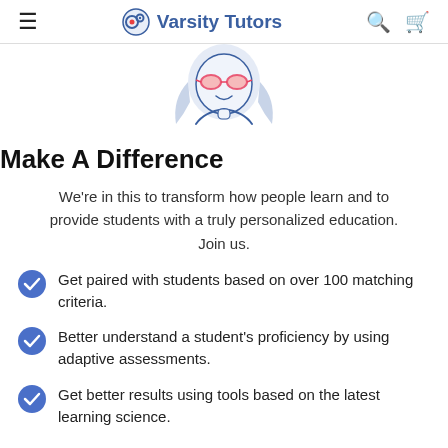Varsity Tutors
[Figure (illustration): Line-art illustration of a person with pink/red heart-shaped glasses and light blue hair, shown from the shoulders up, in a friendly cartoon style.]
Make A Difference
We're in this to transform how people learn and to provide students with a truly personalized education. Join us.
Get paired with students based on over 100 matching criteria.
Better understand a student's proficiency by using adaptive assessments.
Get better results using tools based on the latest learning science.